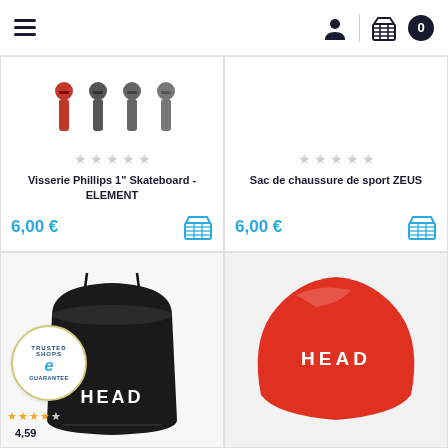Navigation header with menu, user, basket icons and cart count 0
[Figure (photo): Product card: Visserie Phillips 1" Skateboard - ELEMENT screws set, showing one red and three grey screws. Price: 6,00 €]
Visserie Phillips 1" Skateboard - ELEMENT
6,00 €
[Figure (photo): Product card: Sac de chaussure de sport ZEUS - black drawstring shoe bag with HEAD branding. Price: 6,00 €]
Sac de chaussure de sport ZEUS
6,00 €
[Figure (photo): Black HEAD drawstring gym bag with Trusted Shops guarantee badge and 4.59 star rating overlay]
[Figure (photo): Red HEAD silicone swim cap with HEAD logo text]